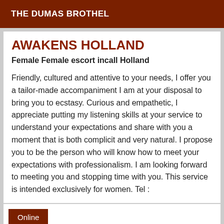THE DUMAS BROTHEL
AWAKENS HOLLAND
Female Female escort incall Holland
Friendly, cultured and attentive to your needs, I offer you a tailor-made accompaniment I am at your disposal to bring you to ecstasy. Curious and empathetic, I appreciate putting my listening skills at your service to understand your expectations and share with you a moment that is both complicit and very natural. I propose you to be the person who will know how to meet your expectations with professionalism. I am looking forward to meeting you and stopping time with you. This service is intended exclusively for women. Tel :
Online